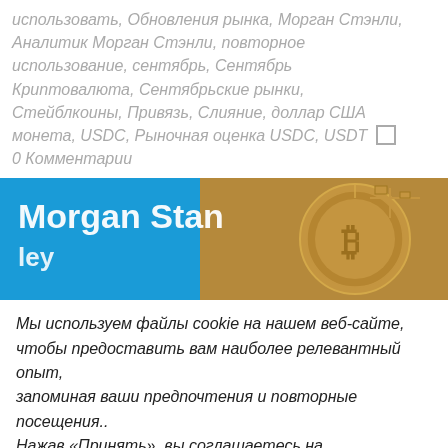использовать, Обновления рынка, Морган Стэнли, Аналитик Морган Стэнли, повторное использование, сентябрь, Сентябрь Криптовалюта, Сентябрьские рынки, Стейблкоины, Привязь, Слияние, доллар США монета, USDC, Рыночная оценка USDC, USDT □ 0 Комментарии
[Figure (photo): Banner image showing Morgan Stanley corporate signage on left (blue background with white text 'Morgan Stanley') and a Bitcoin coin on the right (gold colored)]
Мы используем файлы cookie на нашем веб-сайте, чтобы предоставить вам наиболее релевантный опыт, запоминая ваши предпочтения и повторные посещения.. Нажав «Принять», вы соглашаетесь на использование ВСЕХ файлов cookie.
Не продавайте мою личную информацию .
Настройки файлов cookie | Принимать